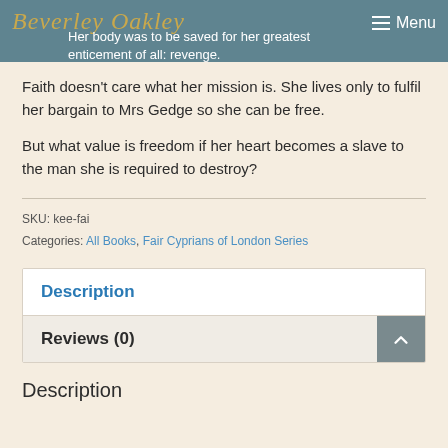Beverley Oakley  Menu
Her body was to be saved for her greatest enticement of all: revenge.
Faith doesn't care what her mission is. She lives only to fulfil her bargain to Mrs Gedge so she can be free.
But what value is freedom if her heart becomes a slave to the man she is required to destroy?
SKU: kee-fai
Categories: All Books, Fair Cyprians of London Series
Description
Reviews (0)
Description